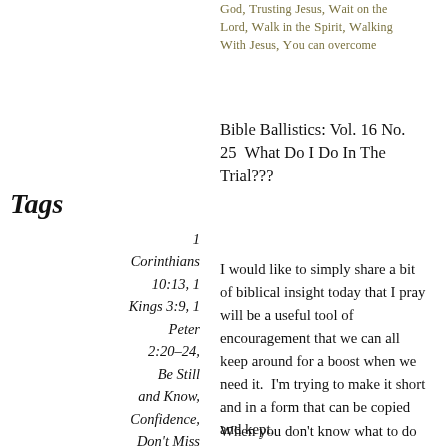God, Trusting Jesus, Wait on the Lord, Walk in the Spirit, Walking With Jesus, You can overcome
Bible Ballistics: Vol. 16 No. 25  What Do I Do In The Trial???
Tags
1 Corinthians 10:13, 1 Kings 3:9, 1 Peter 2:20–24, Be Still and Know, Confidence, Don't Miss God's
I would like to simply share a bit of biblical insight today that I pray will be a useful tool of encouragement that we can all keep around for a boost when we need it.  I'm trying to make it short and in a form that can be copied and kept.
When you don't know what to do—Ask God—